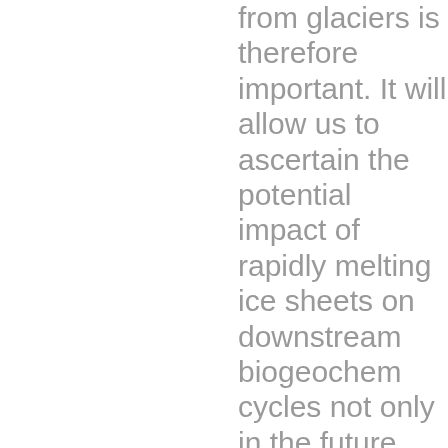from glaciers is therefore important. It will allow us to ascertain the potential impact of rapidly melting ice sheets on downstream biogeochem cycles not only in the future, but also during past glacial